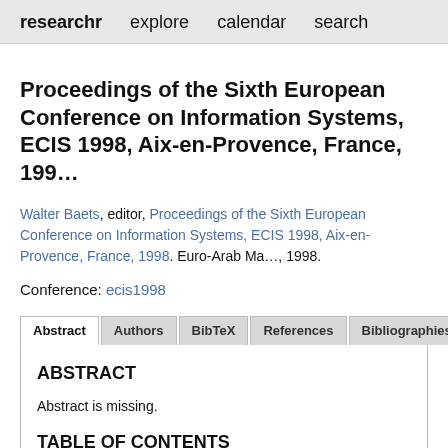researchr   explore   calendar   search
Proceedings of the Sixth European Conference on Information Systems, ECIS 1998, Aix-en-Provence, France, 1998
Walter Baets, editor, Proceedings of the Sixth European Conference on Information Systems, ECIS 1998, Aix-en-Provence, France, 1998. Euro-Arab Management School, 1998.
Conference: ecis1998
ABSTRACT
Abstract is missing.
TABLE OF CONTENTS